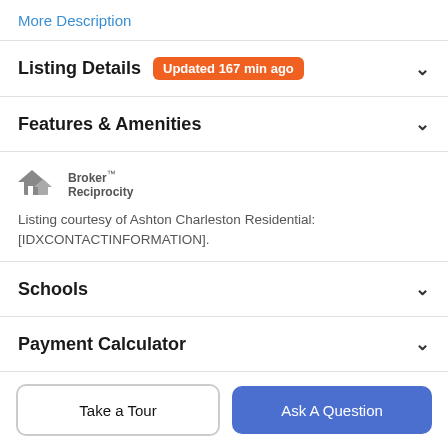More Description
Listing Details  Updated 167 min ago
Features & Amenities
[Figure (logo): Broker Reciprocity logo with house icon]
Listing courtesy of Ashton Charleston Residential: [IDXCONTACTINFORMATION].
Schools
Payment Calculator
Take a Tour
Ask A Question